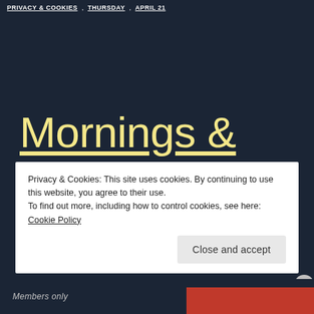PRIVACY & COOKIES, THURSDAY, APRIL 21
Mornings & Evenings
Privacy & Cookies: This site uses cookies. By continuing to use this website, you agree to their use. To find out more, including how to control cookies, see here: Cookie Policy
Close and accept
Members only